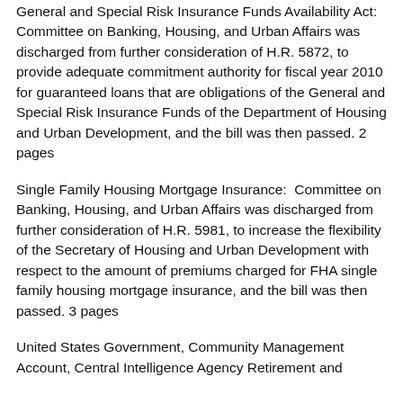General and Special Risk Insurance Funds Availability Act:  Committee on Banking, Housing, and Urban Affairs was discharged from further consideration of H.R. 5872, to provide adequate commitment authority for fiscal year 2010 for guaranteed loans that are obligations of the General and Special Risk Insurance Funds of the Department of Housing and Urban Development, and the bill was then passed. 2 pages
Single Family Housing Mortgage Insurance:  Committee on Banking, Housing, and Urban Affairs was discharged from further consideration of H.R. 5981, to increase the flexibility of the Secretary of Housing and Urban Development with respect to the amount of premiums charged for FHA single family housing mortgage insurance, and the bill was then passed. 3 pages
United States Government, Community Management Account, Central Intelligence Agency Retirement and